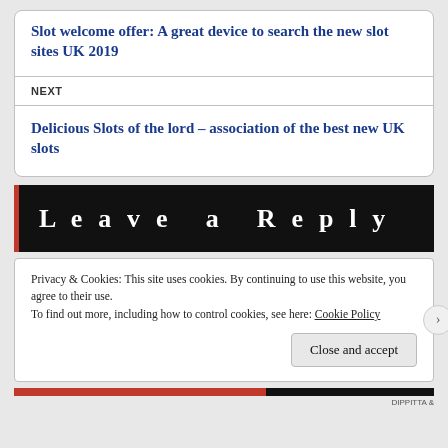Slot welcome offer: A great device to search the new slot sites UK 2019
NEXT
Delicious Slots of the lord – association of the best new UK slots
Leave a Reply
Privacy & Cookies: This site uses cookies. By continuing to use this website, you agree to their use.
To find out more, including how to control cookies, see here: Cookie Policy
Close and accept